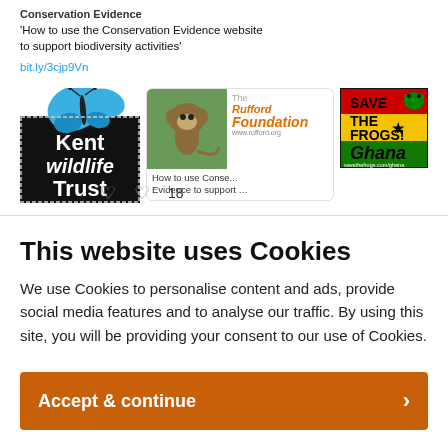[Figure (screenshot): Social media post screenshot showing Conservation Evidence tweet with Kent Wildlife Trust logo, Rufford Foundation card showing a primate photo, and Save the Frogs Ghana logo. Text reads: 'How to use the Conservation Evidence website to support biodiversity activities' with link bit.ly/3cjp9Vn. Like count of 18 shown.]
This website uses Cookies
We use Cookies to personalise content and ads, provide social media features and to analyse our traffic. By using this site, you will be providing your consent to our use of Cookies.
Accept & continue